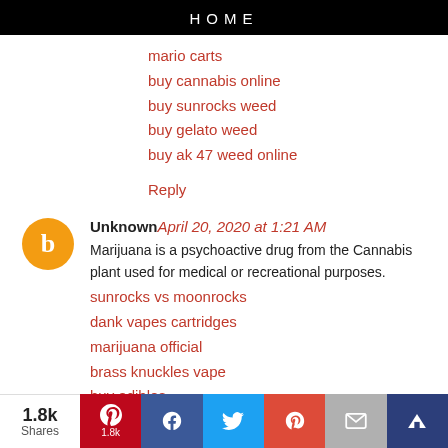HOME
mario carts
buy cannabis online
buy sunrocks weed
buy gelato weed
buy ak 47 weed online
Reply
Unknown April 20, 2020 at 1:21 AM
Marijuana is a psychoactive drug from the Cannabis plant used for medical or recreational purposes.
sunrocks vs moonrocks
dank vapes cartridges
marijuana official
brass knuckles vape
buy edibles
buy moon rock weed
buy smart carts online
buy marijuana online
1.8k Shares | Pinterest 1.8k | Facebook | Twitter | Google+ | Email | Crown